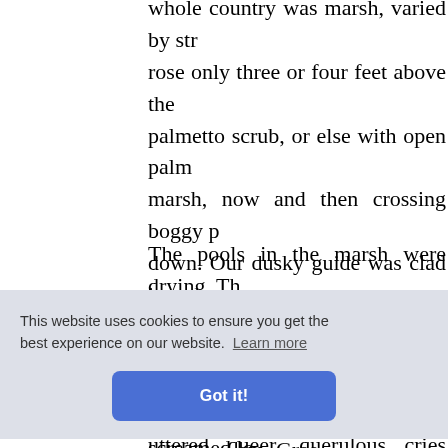whole country was marsh, varied by str rose only three or four feet above the palmetto scrub, or else with open palm marsh, now and then crossing boggy p down. Our dusky guide was clad in a sh on his bare feet; he had a rope for a bri little iron stirrups.
The pools in the marsh were drying. Th and the birds had gathered to the ban jabiru storks; the stately creatures dotte uttered queer, querulous cries when the as noisy as they always are. The ibis an nem in t re feastin
[Figure (screenshot): Cookie consent banner overlay with text 'This website uses cookies to ensure you get the best experience on our website. Learn more' and a blue 'Got it!' button.]
gh a bea em. Gree mbed am others almost entirely red, screamed lo